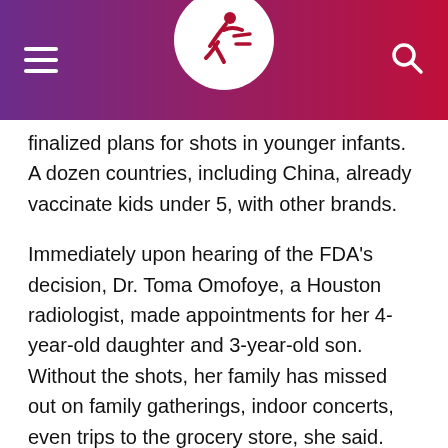[Figure (logo): Website header bar with purple-to-red gradient, hamburger menu icon on the left, circular logo emblem in the center (white circle with a running figure icon in dark red), and a search icon on the right]
finalized plans for shots in younger infants. A dozen countries, including China, already vaccinate kids under 5, with other brands.
Immediately upon hearing of the FDA's decision, Dr. Toma Omofoye, a Houston radiologist, made appointments for her 4-year-old daughter and 3-year-old son. Without the shots, her family has missed out on family gatherings, indoor concerts, even trips to the grocery store, she said. During a recent pharmacy stop, Omofoye said her daughter stared and walked around like